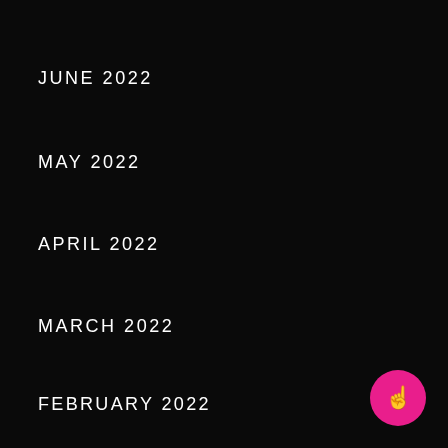JUNE 2022
MAY 2022
APRIL 2022
MARCH 2022
FEBRUARY 2022
JANUARY 2022
DECEMBER 2021
NOVEMBER 2021
[Figure (illustration): Pink circular FAB button with a pointer/hand cursor icon in white, positioned in the bottom-right corner]